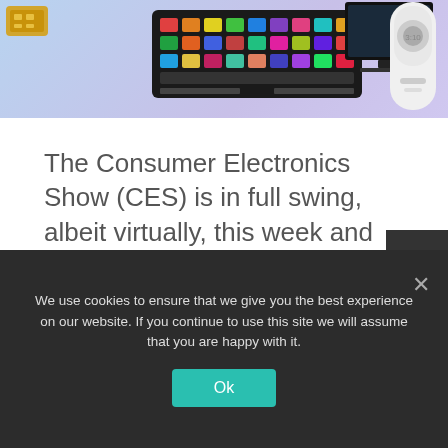[Figure (photo): Banner image showing tech devices including a colorful MIDI/stream deck keyboard controller, a monitor/display, and a white smart doorbell device, on a light blue and purple gradient background. Gold chip/card visible at top left.]
The Consumer Electronics Show (CES) is in full swing, albeit virtually, this week and we've had waves of new tech.
There's a gigantic telly from Samsung, a rollable phone from LG and even a smartphone-connected doggie doorway for Fido.
We use cookies to ensure that we give you the best experience on our website. If you continue to use this site we will assume that you are happy with it.